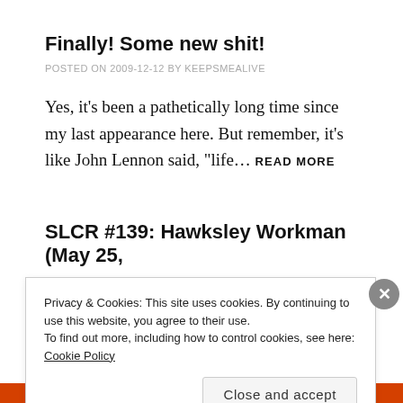Finally! Some new shit!
POSTED ON 2009-12-12 BY KEEPSMEALIVE
Yes, it’s been a pathetically long time since my last appearance here. But remember, it’s like John Lennon said, “life… READ MORE
SLCR #139: Hawksley Workman (May 25,
Privacy & Cookies: This site uses cookies. By continuing to use this website, you agree to their use.
To find out more, including how to control cookies, see here: Cookie Policy
Close and accept